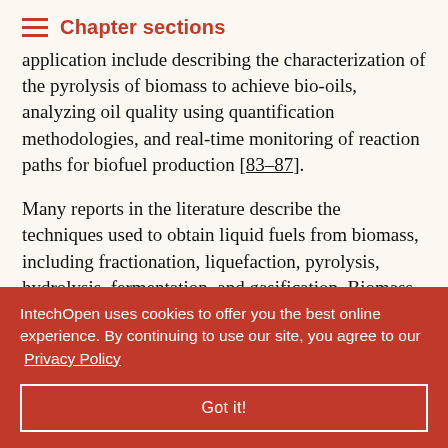Chapter sections
application include describing the characterization of the pyrolysis of biomass to achieve bio-oils, analyzing oil quality using quantification methodologies, and real-time monitoring of reaction paths for biofuel production [83–87].
Many reports in the literature describe the techniques used to obtain liquid fuels from biomass, including fractionation, liquefaction, pyrolysis, hydrolysis, fermentation, and gasification. Biomass ... these products ... either in ... erization of ... Compounds ... aldehydes, anhydrosugars, furans, and phenols are usually
IntechOpen uses cookies to offer you the best online experience. By continuing to use our site, you agree to our Privacy Policy
Got it!